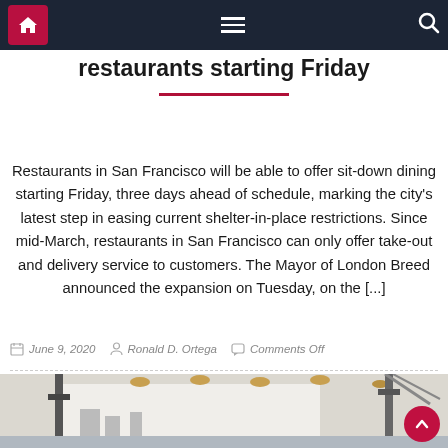Navigation bar with home icon, menu icon, search icon
restaurants starting Friday
Restaurants in San Francisco will be able to offer sit-down dining starting Friday, three days ahead of schedule, marking the city's latest step in easing current shelter-in-place restrictions. Since mid-March, restaurants in San Francisco can only offer take-out and delivery service to customers. The Mayor of London Breed announced the expansion on Tuesday, on the [...]
June 9, 2020  Ronald D. Ortega  Comments Off
[Figure (photo): Street scene with lamp posts and urban infrastructure, partially visible at bottom of page]